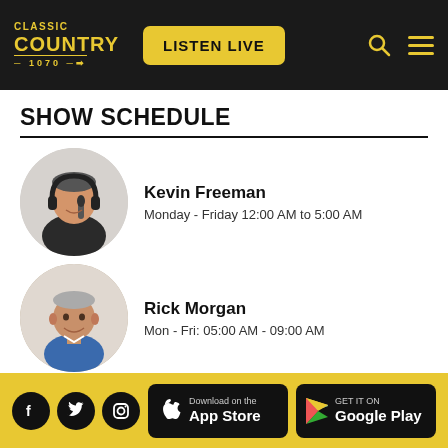Classic Country 1070 - LISTEN LIVE
SHOW SCHEDULE
Kevin Freeman
Monday - Friday 12:00 AM to 5:00 AM
Rick Morgan
Mon - Fri: 05:00 AM - 09:00 AM
Social icons: Facebook, Twitter, Instagram | Download on the App Store | GET IT ON Google Play